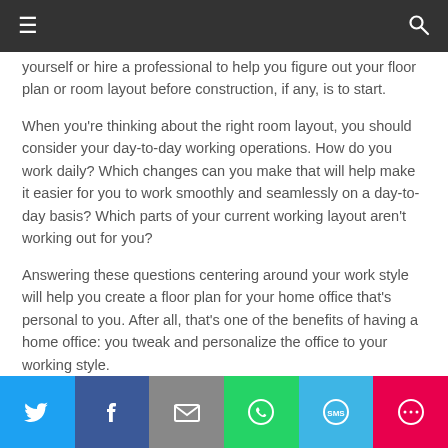≡  🔍
yourself or hire a professional to help you figure out your floor plan or room layout before construction, if any, is to start.
When you're thinking about the right room layout, you should consider your day-to-day working operations. How do you work daily? Which changes can you make that will help make it easier for you to work smoothly and seamlessly on a day-to-day basis? Which parts of your current working layout aren't working out for you?
Answering these questions centering around your work style will help you create a floor plan for your home office that's personal to you. After all, that's one of the benefits of having a home office: you tweak and personalize the office to your working style.
3. PICK STYLISH STORAGE
[Figure (infographic): Social media share bar with Twitter, Facebook, Email, WhatsApp, SMS, and More buttons]